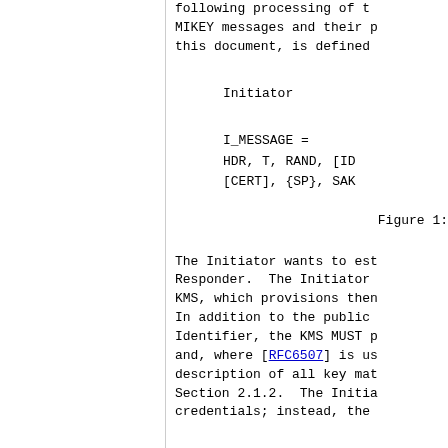following processing of the MIKEY messages and their processing in this document, is defined
Initiator
Figure 1:
The Initiator wants to establish a session with the Responder. The Initiator is registered with a KMS, which provisions them with key material. In addition to the public key and General URI Identifier, the KMS MUST provision the Init ticket and, where [RFC6507] is used, a description of all key material as per Section 2.1.2. The Initiator does not send credentials; instead, the